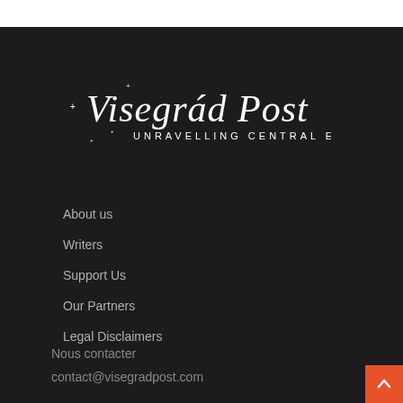[Figure (logo): Visegrád Post logo with decorative stars and subtitle 'UNRAVELLING CENTRAL EUROPE' on dark background]
About us
Writers
Support Us
Our Partners
Legal Disclaimers
Nous contacter
contact@visegradpost.com